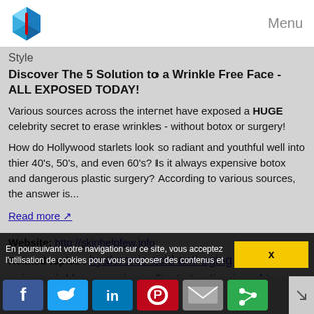Menu
Style
Discover The 5 Solution to a Wrinkle Free Face - ALL EXPOSED TODAY!
Various sources across the internet have exposed a HUGE celebrity secret to erase wrinkles - without botox or surgery!
How do Hollywood starlets look so radiant and youthful well into thier 40's, 50's, and even 60's? Is it always expensive botox and dangerous plastic surgery? According to various sources, the answer is...
Read more
Website: http://skinhelpfew.info
Related topics : hyaluronic acid anti aging cream / anti aging wrinkle cream ingredients / anti aging skin cream ingredients / best anti aging eye cream products / dermatologist recommended
En poursuivant votre navigation sur ce site, vous acceptez l'utilisation de cookies pour vous proposer des contenus et